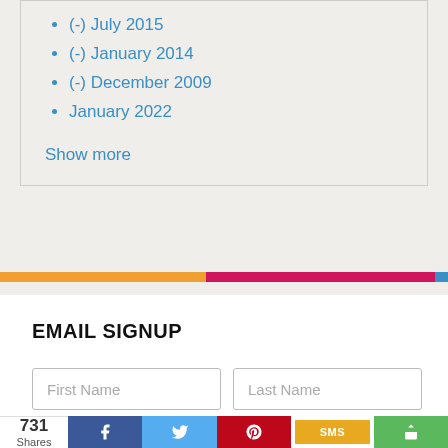(-) July 2015
(-) January 2014
(-) December 2009
January 2022
Show more
EMAIL SIGNUP
First Name
Last Name
731 Shares